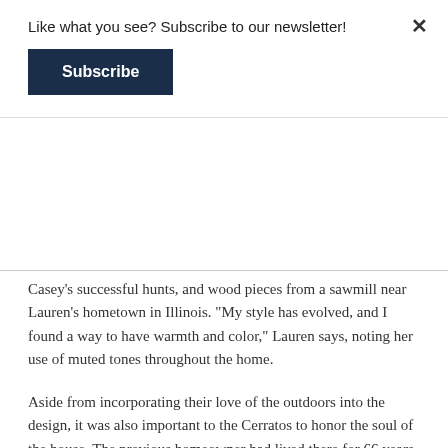Like what you see? Subscribe to our newsletter!
Subscribe
Casey’s successful hunts, and wood pieces from a sawmill near Lauren’s hometown in Illinois. “My style has evolved, and I found a way to have warmth and color,” Lauren says, noting her use of muted tones throughout the home.
Aside from incorporating their love of the outdoors into the design, it was also important to the Cerratos to honor the soul of the house. The previous homeowner had lived there for 66 years, and while they were never able to meet her, they felt a strong tie to her and her family. “The previous owner’s children were very attached to this house, and we got to know them well. We were honored that they entrusted us with it,” Lauren says. To this end, they’ve incorporated subtle touches as a nod to them. For